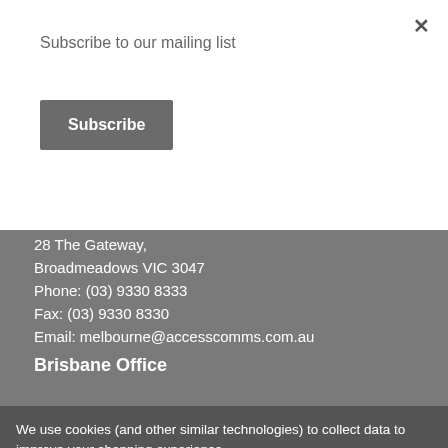Subscribe to our mailing list
Subscribe
28 The Gateway,
Broadmeadows VIC 3047
Phone: (03) 9330 8333
Fax: (03) 9330 8330
Email: melbourne@accesscomms.com.au
Brisbane Office
We use cookies (and other similar technologies) to collect data to improve your shopping experience.
Settings
Reject all
Accept All Cookies